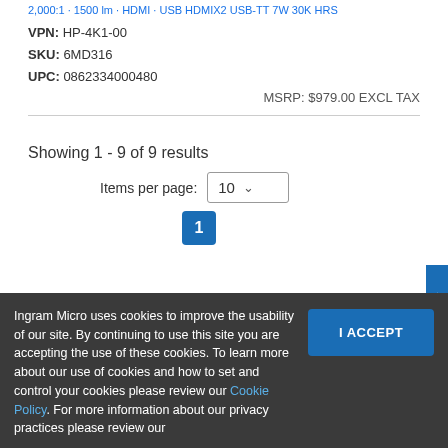2,000:1 · 1500 lm · HDMI · USB HDMIХ2 USB-TT 7W 30K HRS
VPN: HP-4K1-00
SKU: 6MD316
UPC: 0862334000480
MSRP: $979.00 EXCL TAX
Showing 1 - 9 of 9 results
Items per page: 10
1
DBACK
Ingram Micro uses cookies to improve the usability of our site. By continuing to use this site you are accepting the use of these cookies. To learn more about our use of cookies and how to set and control your cookies please review our Cookie Policy. For more information about our privacy practices please review our
I ACCEPT